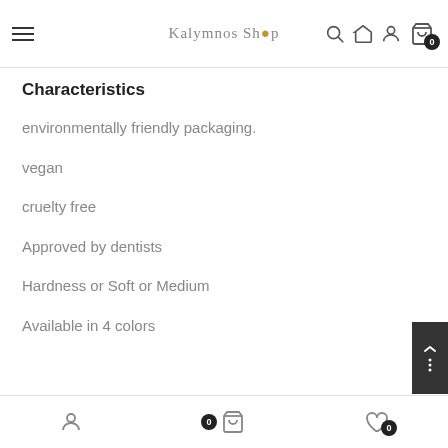Kalymnos Shop — navigation header with menu, search, home, account, cart (0)
Characteristics
environmentally friendly packaging.
vegan
cruelty free
Approved by dentists
Hardness or Soft or Medium
Available in 4 colors
Bottom navigation: account, cart (0), wishlist (0)